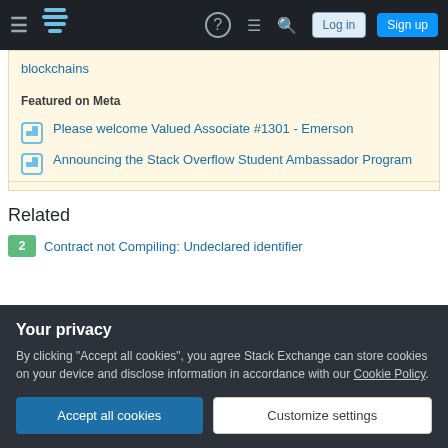Stack Overflow navigation bar with Log in and Sign up buttons
blockchains
Featured on Meta
Please welcome Valued Associate #1301 - Emerson
Announcing the Stack Overflow Student Ambassador Program
Related
2  Contract not Compiling: Undeclared identifier
Your privacy
By clicking "Accept all cookies", you agree Stack Exchange can store cookies on your device and disclose information in accordance with our Cookie Policy.
0  DeclarationError: Undeclared identifier issue